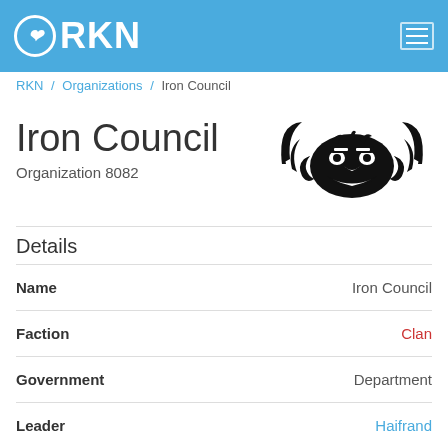RKN
RKN / Organizations / Iron Council
Iron Council
Organization 8082
[Figure (logo): Iron Council organization logo — black tribal owl/skull-like emblem with curved wings and scrollwork]
Details
| Field | Value |
| --- | --- |
| Name | Iron Council |
| Faction | Clan |
| Government | Department |
| Leader | Haifrand |